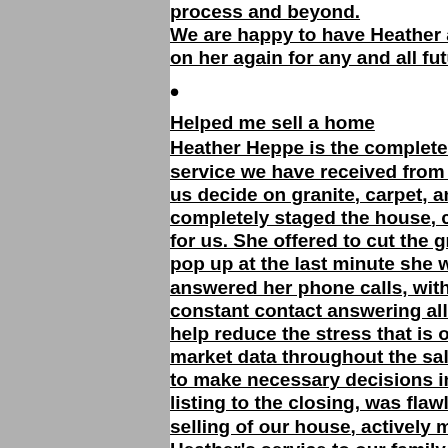process and beyond.
We are happy to have Heather as our [agent and will count] on her again for any and all future rea[l estate needs].
Helped me sell a home
Heather Heppe is the complete packa[ge. Unlike the] service we have received from other [agents, she helped] us decide on granite, carpet, and pai[nt colors,] completely staged the house, coordi[nated contractors] for us. She offered to cut the grass a[nd when issues] pop up at the last minute she was alw[ays available and] answered her phone calls, with no an[swering service,] constant contact answering all of ou[r questions to] help reduce the stress that is often fe[lt in selling a home,] market data throughout the sales cy[cle empowered us] to make necessary decisions in the w[hole process from] listing to the closing, was flawless. F[rom day one of the] selling of our house, actively marketi[ng our house,] Heather's service to our family conti[nued as she assisted] for our relocation to another state an[d community].